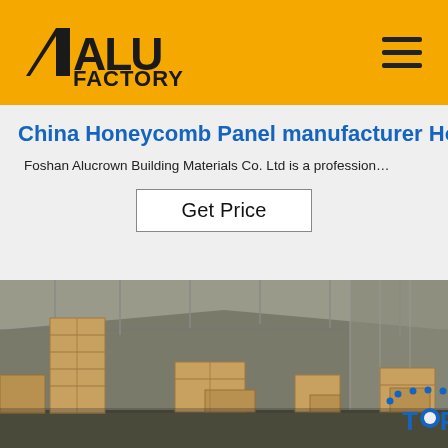ALU FACTORY
China Honeycomb Panel manufacturer Ho…
Foshan Alucrown Building Materials Co. Ltd is a profession…
Get Price
[Figure (photo): Interior of a warehouse with stacked wooden crates and pallets on a concrete floor, metal roof structure visible, with a TOP badge overlay in the bottom right corner]